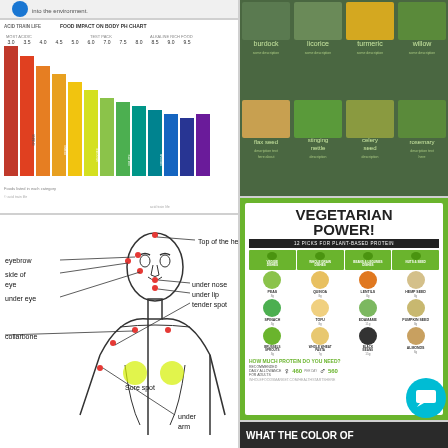[Figure (infographic): Small strip at top showing text about environment]
[Figure (infographic): Food Impact on Body pH Chart showing pH scale from acidic to alkaline with colored bars and food categories]
[Figure (infographic): Grid of healing herbs including burdock, licorice, turmeric, willow, flax seed, stinging nettle, celery seed, rosemary with descriptions]
[Figure (infographic): EFT (Emotional Freedom Technique) tapping points diagram on human body: eyebrow, top of the head, side of eye, under eye, collarbone, under nose, under lip, tender spot, sore spot, under arm]
[Figure (infographic): Vegetarian Power - 12 Picks for Plant-Based Protein infographic with categories: Veggie Dishes, Whole Grain Dishes, Beans & Legumes Dishes, Nuts & Seeds. Items: Peas, Quinoa, Lentils, Hemp Seed, Spinach, Tofu, Edamame, Pumpkin Seed, Brussels Sprouts, Whole Wheat Pasta, Black Beans, Almonds. Protein needs section showing 460 per day for women and 560 for men. URL: wholefoodsmarket.com/healthstartshere]
[Figure (infographic): Chat bubble overlay icon in teal color]
WHAT THE COLOR OF